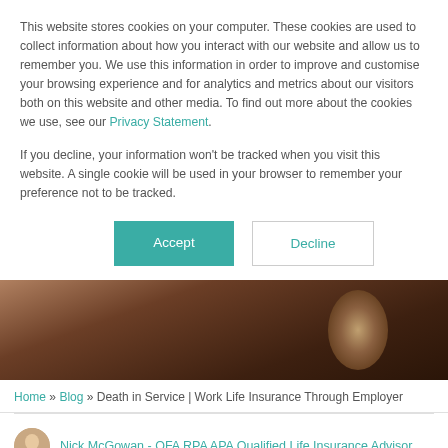This website stores cookies on your computer. These cookies are used to collect information about how you interact with our website and allow us to remember you. We use this information in order to improve and customise your browsing experience and for analytics and metrics about our visitors both on this website and other media. To find out more about the cookies we use, see our Privacy Statement.
If you decline, your information won't be tracked when you visit this website. A single cookie will be used in your browser to remember your preference not to be tracked.
[Figure (screenshot): Two buttons: a teal 'Accept' button and a white 'Decline' button with teal border]
[Figure (photo): Dark brown wooden background image band]
Home » Blog » Death in Service | Work Life Insurance Through Employer
Nick McGowan - QFA RPA APA Qualified Life Insurance Advisor